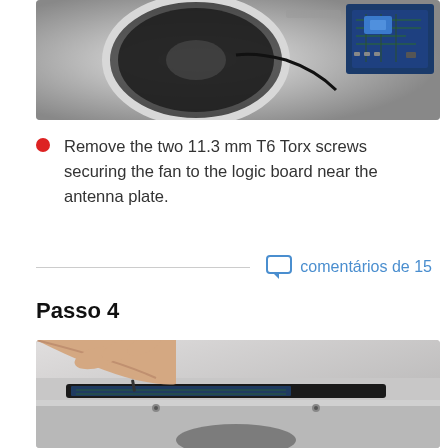[Figure (photo): Interior of an iMac showing a fan and logic board near an antenna plate, with circuit board visible in upper right corner]
Remove the two 11.3 mm T6 Torx screws securing the fan to the logic board near the antenna plate.
comentários de 15
Passo 4
[Figure (photo): Hands using a tool to pry open the bottom edge of an iMac, showing the logic board with components and fan beneath the outer shell]